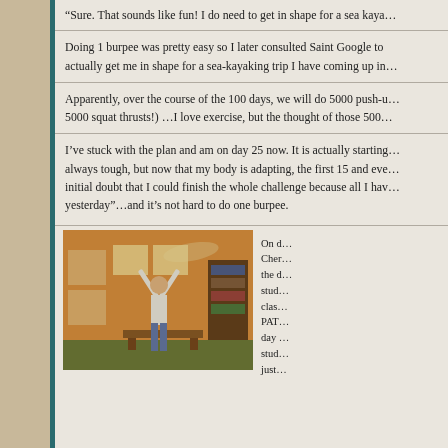“Sure. That sounds like fun! I do need to get in shape for a sea kaya…
Doing 1 burpee was pretty easy so I later consulted Saint Google to actually get me in shape for a sea-kayaking trip I have coming up in…
Apparently, over the course of the 100 days, we will do 5000 push-u… 5000 squat thrusts!) …I love exercise, but the thought of those 500…
I’ve stuck with the plan and am on day 25 now. It is actually starting… always tough, but now that my body is adapting, the first 15 and ev… initial doubt that I could finish the whole challenge because all I hav… yesterday”…and it’s not hard to do one burpee.
[Figure (photo): A man performing a burpee exercise (arms raised overhead) in a wood-paneled cabin interior with windows, bookshelves, and a canoe decoration on the wall.]
On d… Cher… the d… stud… clas… PAT… day … stud… just…